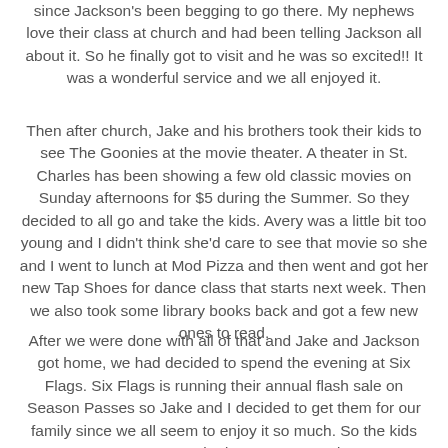since Jackson's been begging to go there. My nephews love their class at church and had been telling Jackson all about it. So he finally got to visit and he was so excited!! It was a wonderful service and we all enjoyed it.
Then after church, Jake and his brothers took their kids to see The Goonies at the movie theater. A theater in St. Charles has been showing a few old classic movies on Sunday afternoons for $5 during the Summer. So they decided to all go and take the kids. Avery was a little bit too young and I didn't think she'd care to see that movie so she and I went to lunch at Mod Pizza and then went and got her new Tap Shoes for dance class that starts next week. Then we also took some library books back and got a few new ones to read.
After we were done with all of that and Jake and Jackson got home, we had decided to spend the evening at Six Flags. Six Flags is running their annual flash sale on Season Passes so Jake and I decided to get them for our family since we all seem to enjoy it so much. So the kids were very excited to get to go and...